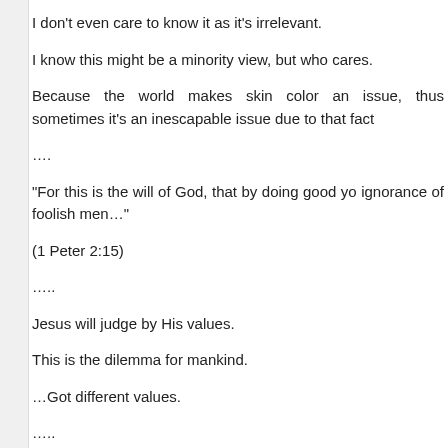I don't even care to know it as it's irrelevant.
I know this might be a minority view, but who cares.
Because the world makes skin color an issue, thus sometimes it's an inescapable issue due to that fact
….
“For this is the will of God, that by doing good you ignorance of foolish men…”
(1 Peter 2:15)
…..
Jesus will judge by His values.
This is the dilemma for mankind.
…Got different values.
…..
When, one day, your coffin is lowered into the ground, in that wooden box? Or will you be somewhere else?
…..
If you want to understand who God is, think of those